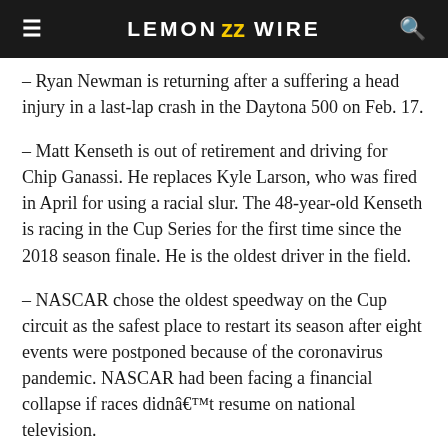LEMON WIRE
– Ryan Newman is returning after a suffering a head injury in a last-lap crash in the Daytona 500 on Feb. 17.
– Matt Kenseth is out of retirement and driving for Chip Ganassi. He replaces Kyle Larson, who was fired in April for using a racial slur. The 48-year-old Kenseth is racing in the Cup Series for the first time since the 2018 season finale. He is the oldest driver in the field.
– NASCAR chose the oldest speedway on the Cup circuit as the safest place to restart its season after eight events were postponed because of the coronavirus pandemic. NASCAR had been facing a financial collapse if races didnât resume on national television.
– This is the first of 20 races across seven Southern states